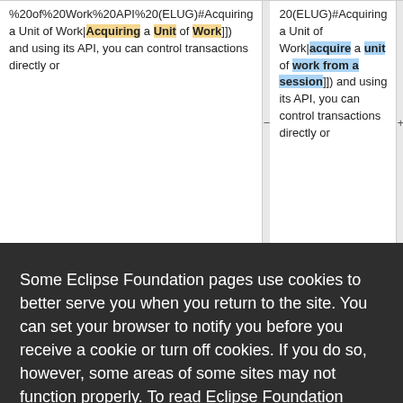%20of%20Work%20API%20(ELUG)#Acquiring a Unit of Work|Acquiring a Unit of Work]]) and using its API, you can control transactions directly or
20(ELUG)#Acquiring a Unit of Work|acquire a unit of work from a session]]) and using its API, you can control transactions directly or
Some Eclipse Foundation pages use cookies to better serve you when you return to the site. You can set your browser to notify you before you receive a cookie or turn off cookies. If you do so, however, some areas of some sites may not function properly. To read Eclipse Foundation Privacy Policy
click here.
Decline
Allow cookies
Servers=====
Servers=====